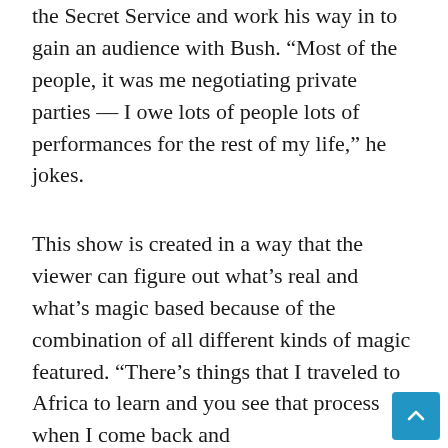the Secret Service and work his way in to gain an audience with Bush. “Most of the people, it was me negotiating private parties — I owe lots of people lots of performances for the rest of my life,” he jokes.
This show is created in a way that the viewer can figure out what’s real and what’s magic based because of the combination of all different kinds of magic featured. “There’s things that I traveled to Africa to learn and you see that process when I come back and